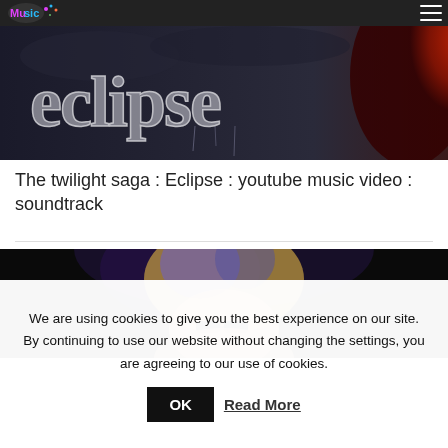Music blog header with logo and navigation menu
[Figure (photo): Eclipse movie title card — large stylized text 'eclipse' in white/silver on dark stormy background with a red glowing orb on the right side]
The twilight saga : Eclipse : youtube music video : soundtrack
[Figure (photo): Partial photo of a person with blonde and blue highlighted hair wearing dark sunglasses, against a black background]
We are using cookies to give you the best experience on our site. By continuing to use our website without changing the settings, you are agreeing to our use of cookies. OK Read More